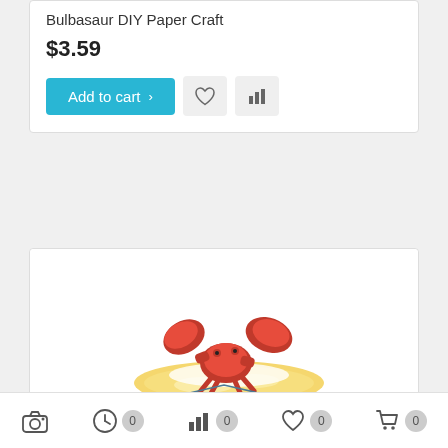Bulbasaur DIY Paper Craft
$3.59
[Figure (screenshot): Add to cart button with heart and bar chart icons]
[Figure (photo): Pop-Up Pokemon Krabby paper craft model on a yellow and blue pop-up book base]
Pop-Up Pokemon - Krabby DIY Paper Craft Kit
$3.50
Bottom navigation bar with camera, clock, bar chart, heart, and cart icons each showing 0